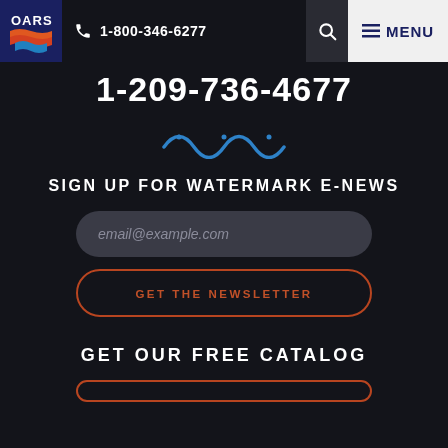OARS logo | 1-800-346-6277 | Search | MENU
1-209-736-4677
[Figure (illustration): Blue wave/water decorative icon]
SIGN UP FOR WATERMARK E-NEWS
email@example.com
GET THE NEWSLETTER
GET OUR FREE CATALOG